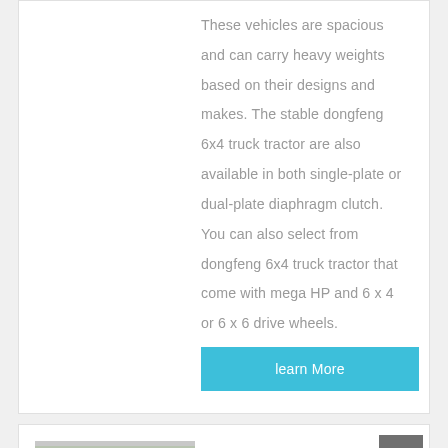These vehicles are spacious and can carry heavy weights based on their designs and makes. The stable dongfeng 6x4 truck tractor are also available in both single-plate or dual-plate diaphragm clutch. You can also select from dongfeng 6x4 truck tractor that come with mega HP and 6 x 4 or 6 x 6 drive wheels.
learn More
[Figure (photo): Photo of a white Dongfeng truck tractor parked outdoors with trees in the background]
Second-Hand 375hp Dongfeng kinland cargo towing